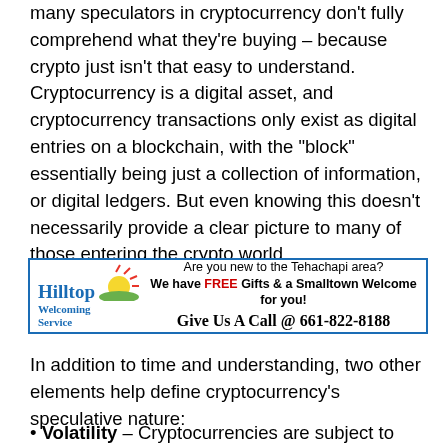many speculators in cryptocurrency don't fully comprehend what they're buying – because crypto just isn't that easy to understand. Cryptocurrency is a digital asset, and cryptocurrency transactions only exist as digital entries on a blockchain, with the "block" essentially being just a collection of information, or digital ledgers. But even knowing this doesn't necessarily provide a clear picture to many of those entering the crypto world.
[Figure (other): Hilltop Welcoming Service advertisement. Text: Are you new to the Tehachapi area? We have FREE Gifts & a Smalltown Welcome for you! Give Us A Call @ 661-822-8188. Logo shows stylized sun with Hilltop Welcoming Service text.]
In addition to time and understanding, two other elements help define cryptocurrency's speculative nature:
Volatility – Cryptocurrencies are subject to truly astonishing price swings, with big gains followed by